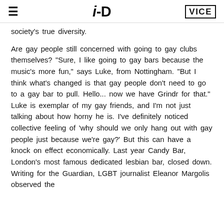≡  i-D  VICE
society's true diversity.
Are gay people still concerned with going to gay clubs themselves? "Sure, I like going to gay bars because the music's more fun," says Luke, from Nottingham. "But I think what's changed is that gay people don't need to go to a gay bar to pull. Hello... now we have Grindr for that." Luke is exemplar of my gay friends, and I'm not just talking about how horny he is. I've definitely noticed collective feeling of 'why should we only hang out with gay people just because we're gay?' But this can have a knock on effect economically. Last year Candy Bar, London's most famous dedicated lesbian bar, closed down. Writing for the Guardian, LGBT journalist Eleanor Margolis observed the